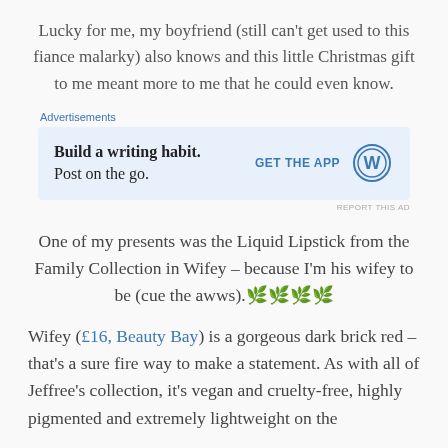Lucky for me, my boyfriend (still can't get used to this fiance malarky) also knows and this little Christmas gift to me meant more to me that he could even know.
[Figure (screenshot): WordPress advertisement banner: 'Build a writing habit. Post on the go.' with a GET THE APP button and WordPress logo]
One of my presents was the Liquid Lipstick from the Family Collection in Wifey – because I'm his wifey to be (cue the awws). 🌿🌿🌿🌿
Wifey (£16, Beauty Bay) is a gorgeous dark brick red – that's a sure fire way to make a statement. As with all of Jeffree's collection, it's vegan and cruelty-free, highly pigmented and extremely lightweight on the